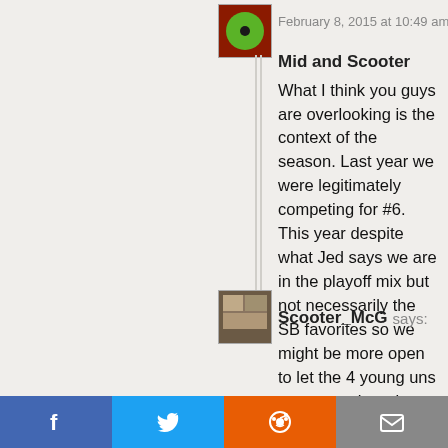February 8, 2015 at 10:49 am
Mid and Scooter
What I think you guys are overlooking is the context of the season. Last year we were legitimately competing for #6. This year despite what Jed says we are in the playoff mix but not necessarily the SB favorites so we might be more open to let the 4 young uns compete where last year we were more likely to rely on an experienced vet. There is not as much to loose and in building for the future we might as well see what Acker reaser and johnson have rather than overpaying (relative to the names I just mentioned) for Cox or Cully
Scooter_McG says: